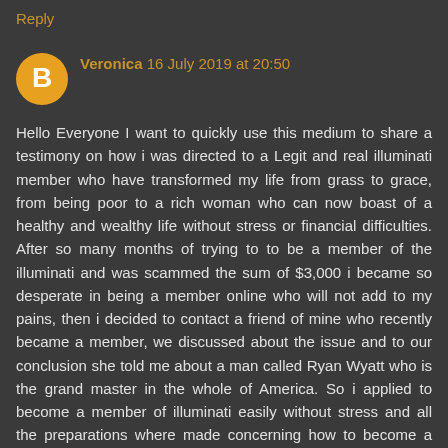Reply
Veronica 16 July 2019 at 20:50
Hello Everyone I want to quickly use this medium to share a testimony on how i was directed to a Legit and real illuminati member who have transformed my life from grass to grace, from being poor to a rich woman who can now boast of a healthy and wealthy life without stress or financial difficulties. After so many months of trying to to be a member of the illuminati and was scammed the sum of $3,000 i became so desperate in being a member online who will not add to my pains, then i decided to contact a friend of mine who recently became a member, we discussed about the issue and to our conclusion she told me about a man called Ryan Wyatt who is the grand master in the whole of America. So i applied to become a member of illuminati easily without stress and all the preparations where made concerning how to become a member in two(2) days i became a member and the sum of $250,000.00 dollars was deposited into my bank account